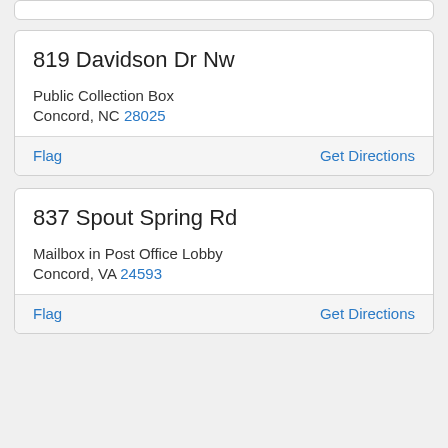819 Davidson Dr Nw
Public Collection Box
Concord, NC 28025
Flag | Get Directions
837 Spout Spring Rd
Mailbox in Post Office Lobby
Concord, VA 24593
Flag | Get Directions